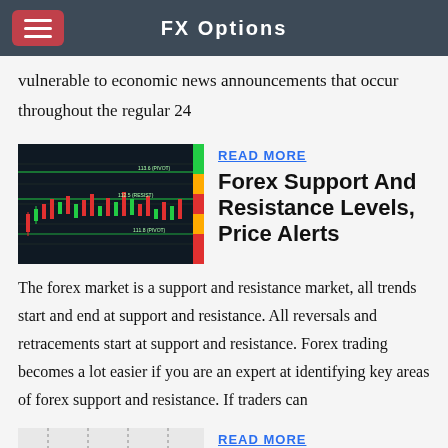FX Options
vulnerable to economic news announcements that occur throughout the regular 24
[Figure (screenshot): Forex candlestick chart with support and resistance levels marked, dark background with red and green candles]
READ MORE
Forex Support And Resistance Levels, Price Alerts
The forex market is a support and resistance market, all trends start and end at support and resistance. All reversals and retracements start at support and resistance. Forex trading becomes a lot easier if you are an expert at identifying key areas of forex support and resistance. If traders can
[Figure (screenshot): Forex candlestick chart with dotted vertical lines and horizontal support/resistance lines, light background]
READ MORE
#1 Deal Forex Alarm Best